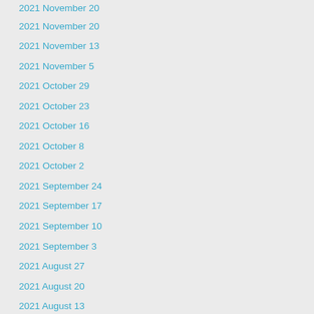2021 November 20
2021 November 20
2021 November 13
2021 November 5
2021 October 29
2021 October 23
2021 October 16
2021 October 8
2021 October 2
2021 September 24
2021 September 17
2021 September 10
2021 September 3
2021 August 27
2021 August 20
2021 August 13
2021 August 6